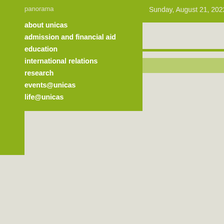panorama
Sunday, August 21, 2022
about unicas
admission and financial aid
education
international relations
research
events@unicas
life@unicas